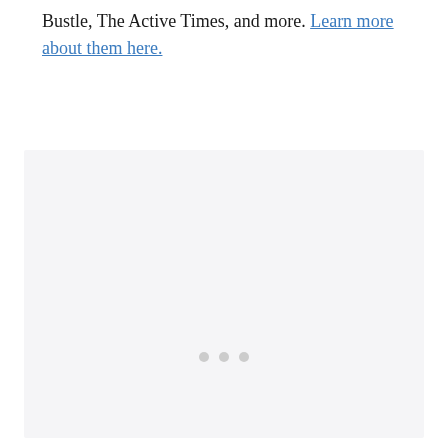Bustle, The Active Times, and more. Learn more about them here.
[Figure (other): A large light gray placeholder box with three small gray dots near the bottom center, indicating a loading or empty image/content area.]